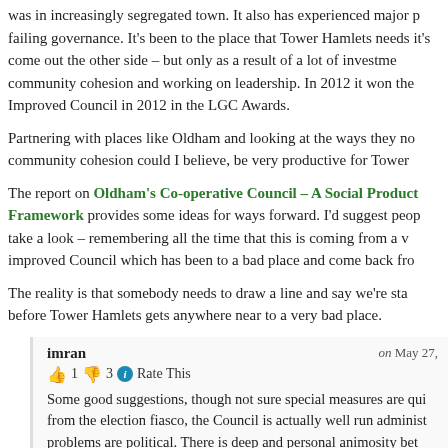was in increasingly segregated town. It also has experienced major p failing governance. It's been to the place that Tower Hamlets needs it's come out the other side – but only as a result of a lot of investme community cohesion and working on leadership. In 2012 it won the Improved Council in 2012 in the LGC Awards.
Partnering with places like Oldham and looking at the ways they no community cohesion could I believe, be very productive for Tower
The report on Oldham's Co-operative Council – A Social Product Framework provides some ideas for ways forward. I'd suggest peop take a look – remembering all the time that this is coming from a v improved Council which has been to a bad place and come back fro
The reality is that somebody needs to draw a line and say we're sta before Tower Hamlets gets anywhere near to a very bad place.
imran
on May 27,
👍 1 👎 3 ℹ Rate This
Some good suggestions, though not sure special measures are qui from the election fiasco, the Council is actually well run administ problems are political. There is deep and personal animosity bet which no special measure from government can sort out.